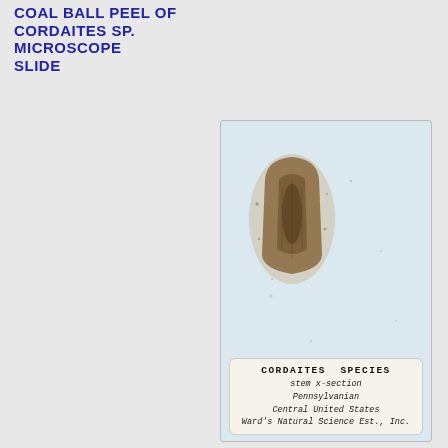COAL BALL PEEL OF CORDAITES SP. MICROSCOPE SLIDE
[Figure (photo): A microscope slide containing a coal ball peel specimen of Cordaites sp. The slide shows a pale blue-grey glass background with a small mounted fossil specimen (stem cross-section) in the upper-left portion of the slide. The specimen appears brown/sepia-colored showing plant tissue structure. A specimen label at the bottom reads: CORDAITES SPECIES, stem x-section, Pennsylvanian, Central United States, Ward's Natural Science Est., Inc.]